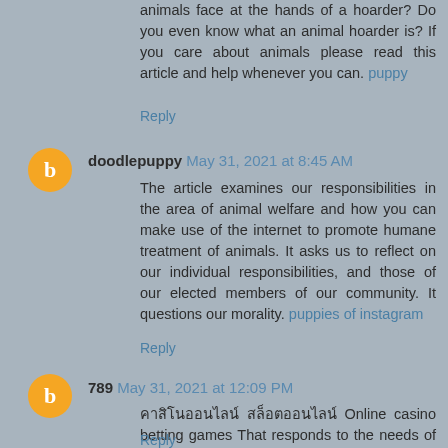animals face at the hands of a hoarder? Do you even know what an animal hoarder is? If you care about animals please read this article and help whenever you can. puppy
Reply
doodlepuppy May 31, 2021 at 8:45 AM
The article examines our responsibilities in the area of animal welfare and how you can make use of the internet to promote humane treatment of animals. It asks us to reflect on our individual responsibilities, and those of our elected members of our community. It questions our morality. puppies of instagram
Reply
789 May 31, 2021 at 12:09 PM
คาสิโนออนไลน์ สล็อตออนไลน์ Online casino betting games That responds to the needs of the gambler fully
Reply